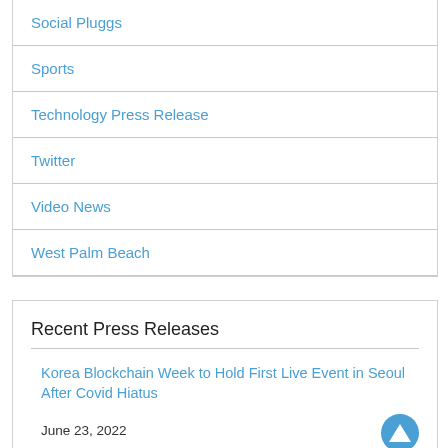Social Pluggs
Sports
Technology Press Release
Twitter
Video News
West Palm Beach
Recent Press Releases
Korea Blockchain Week to Hold First Live Event in Seoul After Covid Hiatus
June 23, 2022